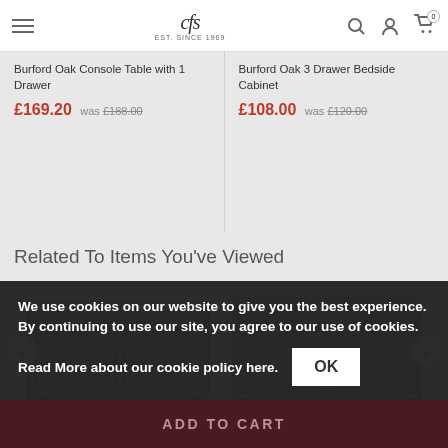[Figure (screenshot): CFS furniture website navigation bar with hamburger menu, CFS logo, search, account, and cart icons]
Burford Oak Console Table with 1 Drawer
£169.20 was £188.00
Burford Oak 3 Drawer Bedside Cabinet
£108.00 was £120.00
Related To Items You've Viewed
[Figure (photo): Carousel showing two furniture sideboards/dressers in light oak/cream finish - left item Satuigue Cottage Dressing and right item Dorset Oak 3 Door Sideboard]
We use cookies on our website to give you the best experience. By continuing to use our site, you agree to our use of cookies.
Read More about our cookie policy here.
OK
ADD TO CART